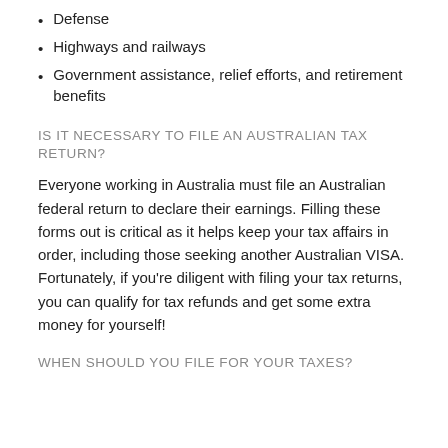Defense
Highways and railways
Government assistance, relief efforts, and retirement benefits
IS IT NECESSARY TO FILE AN AUSTRALIAN TAX RETURN?
Everyone working in Australia must file an Australian federal return to declare their earnings. Filling these forms out is critical as it helps keep your tax affairs in order, including those seeking another Australian VISA. Fortunately, if you're diligent with filing your tax returns, you can qualify for tax refunds and get some extra money for yourself!
WHEN SHOULD YOU FILE FOR YOUR TAXES?